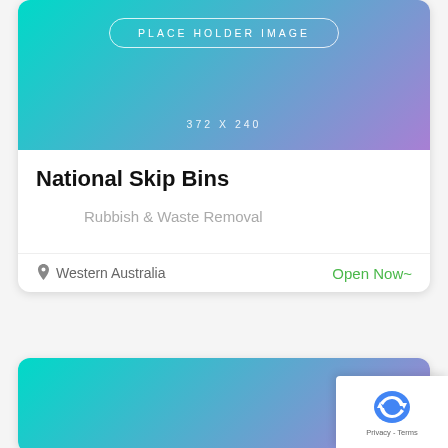[Figure (illustration): Placeholder image card with teal-to-purple gradient background, showing 'PLACE HOLDER IMAGE' badge and '372 X 240' size label]
National Skip Bins
Rubbish & Waste Removal
Western Australia
Open Now~
[Figure (illustration): Second placeholder card with teal-to-purple gradient, partially visible at bottom of page]
[Figure (illustration): reCAPTCHA badge overlay in bottom-right corner showing recycling arrows logo and 'Privacy - Terms' text]